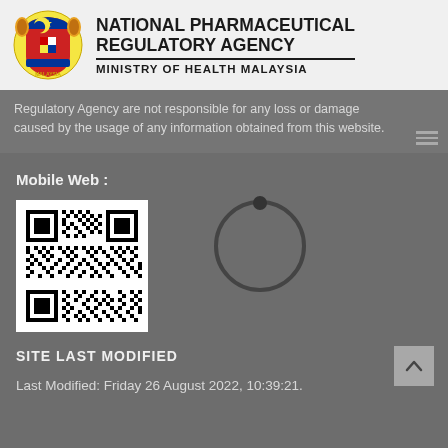[Figure (logo): Malaysia coat of arms / national emblem with two tigers]
NATIONAL PHARMACEUTICAL REGULATORY AGENCY
MINISTRY OF HEALTH MALAYSIA
Regulatory Agency are not responsible for any loss or damage caused by the usage of any information obtained from this website.
Mobile Web :
[Figure (other): QR code for mobile web]
[Figure (other): Loading circle spinner graphic]
SITE LAST MODIFIED
Last Modified: Friday 26 August 2022, 10:39:21.